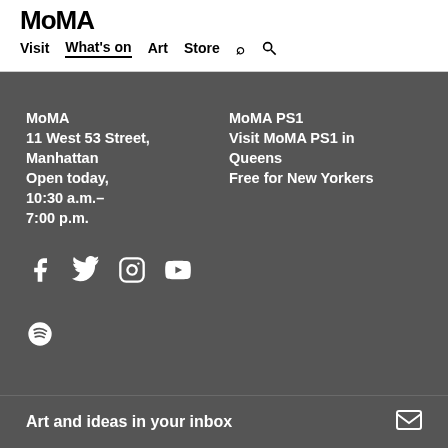MoMA
Visit | What's on | Art | Store | Search
MoMA
11 West 53 Street, Manhattan
Open today, 10:30 a.m.–7:00 p.m.
MoMA PS1
Visit MoMA PS1 in Queens
Free for New Yorkers
[Figure (other): Social media icons: Facebook, Twitter, Instagram, YouTube, Spotify]
Art and ideas in your inbox